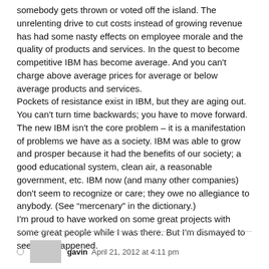somebody gets thrown or voted off the island. The unrelenting drive to cut costs instead of growing revenue has had some nasty effects on employee morale and the quality of products and services. In the quest to become competitive IBM has become average. And you can't charge above average prices for average or below average products and services.
Pockets of resistance exist in IBM, but they are aging out. You can't turn time backwards; you have to move forward. The new IBM isn't the core problem – it is a manifestation of problems we have as a society. IBM was able to grow and prosper because it had the benefits of our society; a good educational system, clean air, a reasonable government, etc. IBM now (and many other companies) don't seem to recognize or care; they owe no allegiance to anybody. (See “mercenary” in the dictionary.)
I'm proud to have worked on some great projects with some great people while I was there. But I'm dismayed to see what happened.
gavin  April 21, 2012 at 4:11 pm